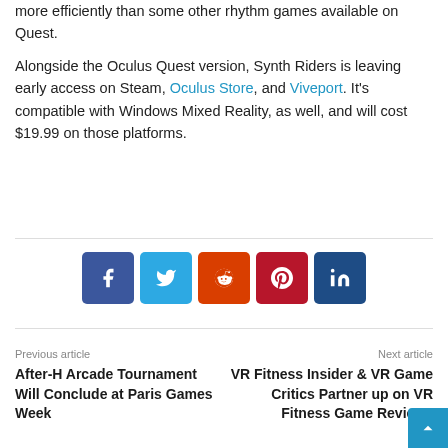more efficiently than some other rhythm games available on Quest.
Alongside the Oculus Quest version, Synth Riders is leaving early access on Steam, Oculus Store, and Viveport. It's compatible with Windows Mixed Reality, as well, and will cost $19.99 on those platforms.
[Figure (infographic): Social share buttons: Facebook (dark blue), Twitter (light blue), Reddit (orange-red), Pinterest (dark red), LinkedIn (dark blue)]
Previous article
After-H Arcade Tournament Will Conclude at Paris Games Week
Next article
VR Fitness Insider & VR Game Critics Partner up on VR Fitness Game Reviews